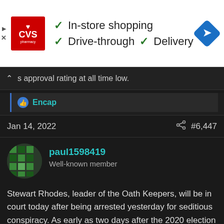[Figure (infographic): CVS Pharmacy advertisement banner showing logo and service options: In-store shopping, Drive-through, Delivery with checkmarks, and a navigation icon]
s approval rating at all time low.
Encap
Jan 14, 2022   #6,447
paul1598419
Well-known member
Stewart Rhodes, leader of the Oath Keepers, will be in court today after being arrested yesterday for seditious conspiracy. As early as two days after the 2020 election he was using an encrypted app to plan for the assault on the Capital. He spent over $17 thousand on weapons and ammunition which was